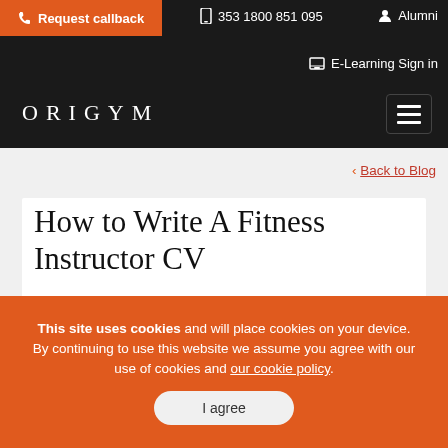Request callback | 353 1800 851 095 | Alumni | E-Learning Sign in | ORIGYM
Back to Blog
How to Write A Fitness Instructor CV
This site uses cookies and will place cookies on your device. By continuing to use this website we assume you agree with our use of cookies and our cookie policy.
I agree